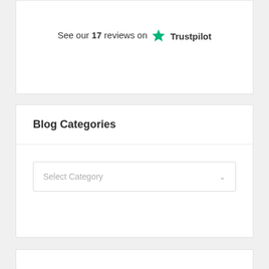See our 17 reviews on Trustpilot
Blog Categories
[Figure (other): Select Category dropdown input box with chevron arrow]